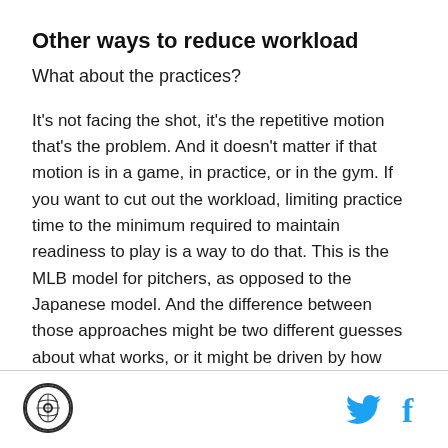Other ways to reduce workload
What about the practices?
It's not facing the shot, it's the repetitive motion that's the problem. And it doesn't matter if that motion is in a game, in practice, or in the gym. If you want to cut out the workload, limiting practice time to the minimum required to maintain readiness to play is a way to do that. This is the MLB model for pitchers, as opposed to the Japanese model. And the difference between those approaches might be two different guesses about what works, or it might be driven by how many games a pitcher plays in each league.
Logo and social media icons